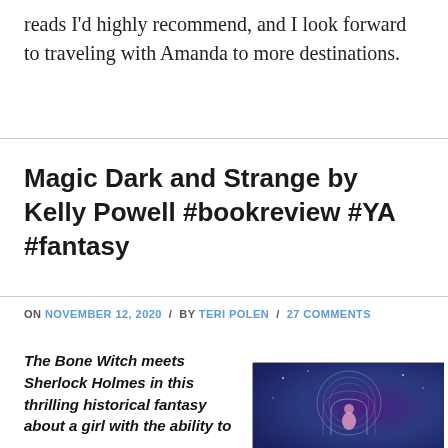reads I'd highly recommend, and I look forward to traveling with Amanda to more destinations.
Magic Dark and Strange by Kelly Powell #bookreview #YA #fantasy
ON NOVEMBER 12, 2020 / BY TERI POLEN / 27 COMMENTS
The Bone Witch meets Sherlock Holmes in this thrilling historical fantasy about a girl with the ability to
[Figure (illustration): Book cover of Magic Dark and Strange showing a purple/blue fantasy illustration with ornate circular designs and a figure]